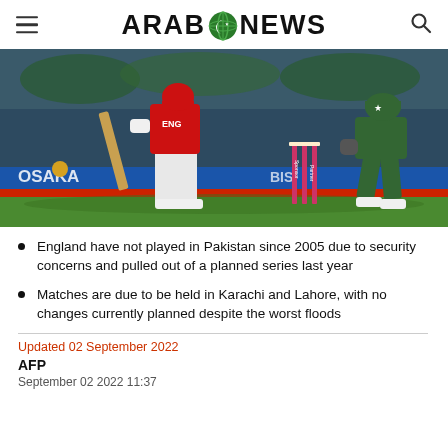ARAB NEWS (logo with globe icon)
[Figure (photo): Cricket match photo showing an England batsman in red/navy kit playing a shot, with pink/red stumps and a Pakistani wicket-keeper in green kit crouching behind. Advertising boards visible in background including OSAKA.]
England have not played in Pakistan since 2005 due to security concerns and pulled out of a planned series last year
Matches are due to be held in Karachi and Lahore, with no changes currently planned despite the worst floods
Updated 02 September 2022
AFP
September 02 2022 11:37